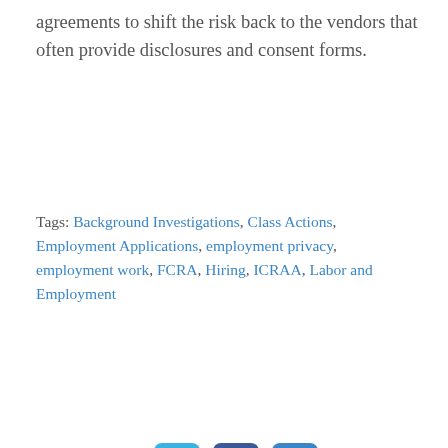agreements to shift the risk back to the vendors that often provide disclosures and consent forms.
Tags: Background Investigations, Class Actions, Employment Applications, employment privacy, employment work, FCRA, Hiring, ICRAA, Labor and Employment
[Figure (infographic): Social sharing icons: print, email, Twitter, Facebook, LinkedIn]
[Figure (photo): Photo of Brooke Purcell, a woman with dark hair]
Brooke Purcell